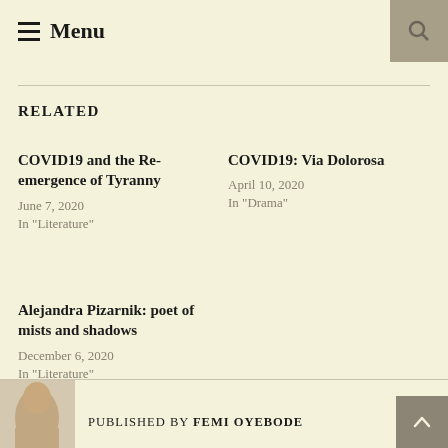Menu
RELATED
COVID19 and the Re-emergence of Tyranny
June 7, 2020
In "Literature"
COVID19: Via Dolorosa
April 10, 2020
In "Drama"
Alejandra Pizarnik: poet of mists and shadows
December 6, 2020
In "Literature"
PUBLISHED BY FEMI OYEBODE